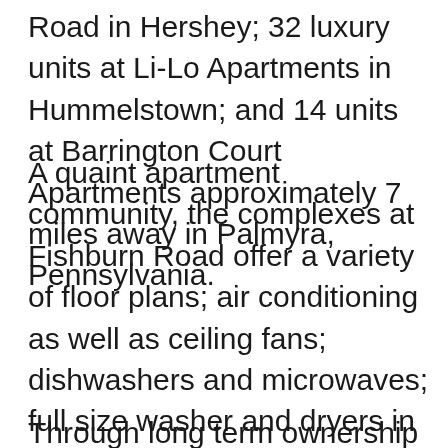Road in Hershey; 32 luxury units at Li-Lo Apartments in Hummelstown; and 14 units at Barrington Court Apartments approximately 7 miles away in Palmyra, Pennsylvania.
A quaint apartment community, the complexes at Fishburn Road offer a variety of floor plans; air conditioning as well as ceiling fans; dishwashers and microwaves; full size washer and dryers in select units; garages, and onsite maintenance. Amenities at the spacious, one and two-bedroom Li-Lo Apartments include 9-foot ceilings with UV reducing windows providing abundant natural light; walk-in closets; energy efficient appliances; full size washers and dryers in every unit; patio or balcony and garages.
Through long term ownership the properties